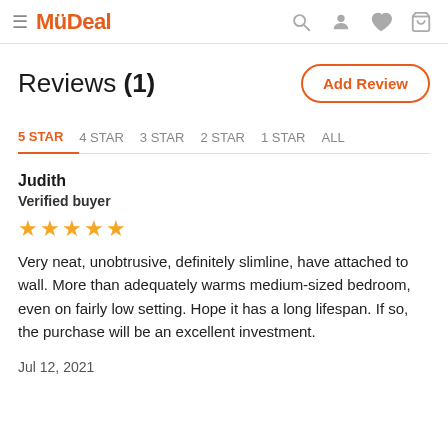≡ MüDeal [search] [account] [wishlist] [cart]
Reviews (1)
Add Review
5 STAR   4 STAR   3 STAR   2 STAR   1 STAR   ALL
Judith
Verified buyer
★★★★★
Very neat, unobtrusive, definitely slimline, have attached to wall. More than adequately warms medium-sized bedroom, even on fairly low setting. Hope it has a long lifespan. If so, the purchase will be an excellent investment.
Jul 12, 2021